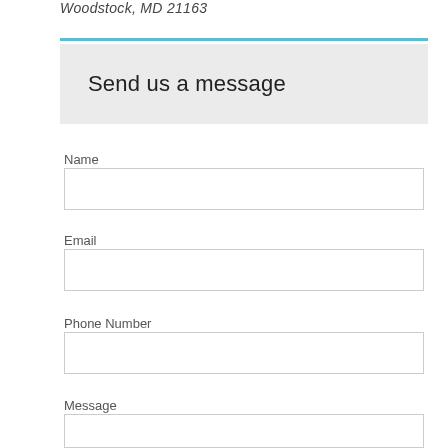Woodstock, MD 21163
Send us a message
Name
Email
Phone Number
Message